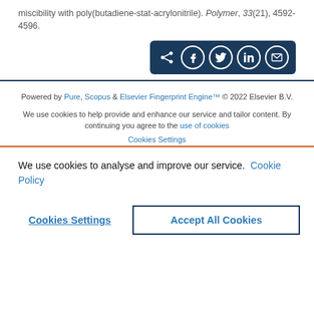miscibility with poly(butadiene-stat-acrylonitrile). Polymer, 33(21), 4592-4596.
[Figure (other): Social share button bar with share, Facebook, Twitter, LinkedIn, and email icons on dark blue background]
Powered by Pure, Scopus & Elsevier Fingerprint Engine™ © 2022 Elsevier B.V.
We use cookies to help provide and enhance our service and tailor content. By continuing you agree to the use of cookies
Cookies Settings
We use cookies to analyse and improve our service. Cookie Policy
Cookies Settings
Accept All Cookies